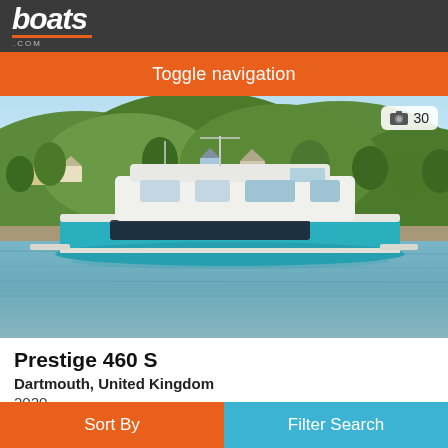boats.com
Toggle navigation
[Figure (photo): A white and teal Prestige 460 S motor yacht on a river estuary with green tree-covered hills and buildings in the background under a blue sky. A photo count badge showing a camera icon and the number 30 is in the top right corner of the image.]
Prestige 460 S
Dartmouth, United Kingdom
2020
Sort By
Filter Search